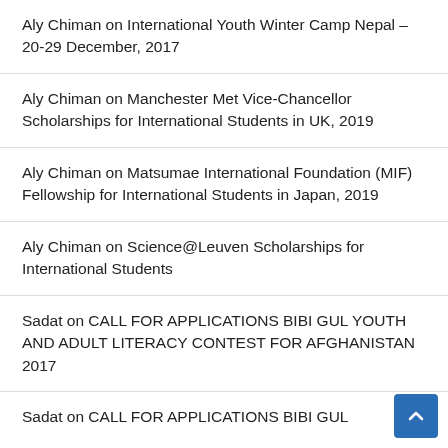Aly Chiman on International Youth Winter Camp Nepal – 20-29 December, 2017
Aly Chiman on Manchester Met Vice-Chancellor Scholarships for International Students in UK, 2019
Aly Chiman on Matsumae International Foundation (MIF) Fellowship for International Students in Japan, 2019
Aly Chiman on Science@Leuven Scholarships for International Students
Sadat on CALL FOR APPLICATIONS BIBI GUL YOUTH AND ADULT LITERACY CONTEST FOR AFGHANISTAN 2017
Sadat on CALL FOR APPLICATIONS BIBI GUL